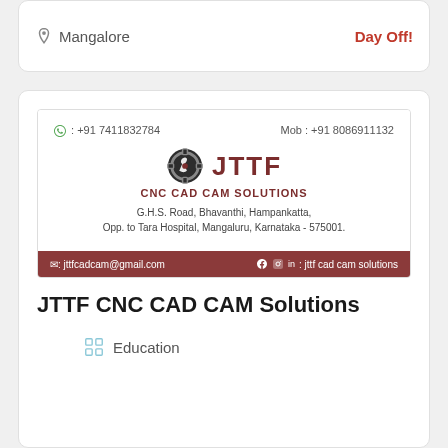Mangalore
Day Off!
[Figure (photo): Business card for JTTF CNC CAD CAM Solutions showing contact info, logo, address, email and social media]
JTTF CNC CAD CAM Solutions
Education